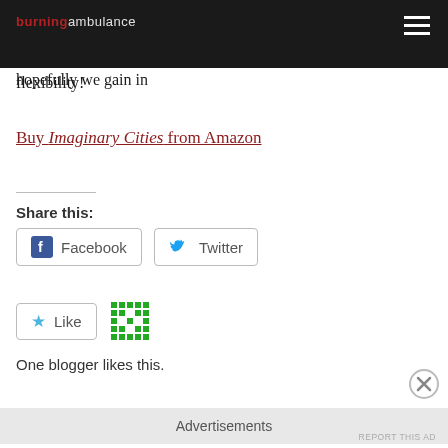burning ambulance
We've played small group versions of all this music, that's not a problem. We leave out certain sections and of course it's texturally very different, but what we lose in numbers hopefully we gain in flexibility!
Buy Imaginary Cities from Amazon
Share this:
Facebook   Twitter
Like   One blogger likes this.
Advertisements
REPORT THIS AD